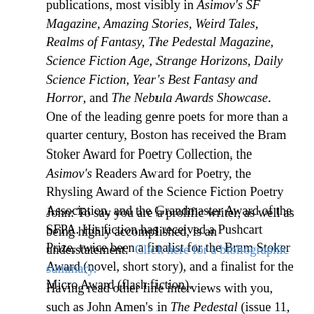publications, most visibly in Asimov's SF Magazine, Amazing Stories, Weird Tales, Realms of Fantasy, The Pedestal Magazine, Science Fiction Age, Strange Horizons, Daily Science Fiction, Year's Best Fantasy and Horror, and The Nebula Awards Showcase. One of the leading genre poets for more than a quarter century, Boston has received the Bram Stoker Award for Poetry Collection, the Asimov's Readers Award for Poetry, the Rhysling Award of the Science Fiction Poetry Association, and the Grandmaster Award of the SFPA. His fiction has received a Pushcart Prize, twice been a finalist for the Bram Stoker Award (novel, short story), and a finalist for the Micro Award (flash fiction).
John: To say you are a prolific writer, as well as being highly accomplished, is an understatement. Click here for a bibliographic summary.
Having read other fine interviews with you, such as John Amen's in The Pedestal (issue 11, 2002) and Van der